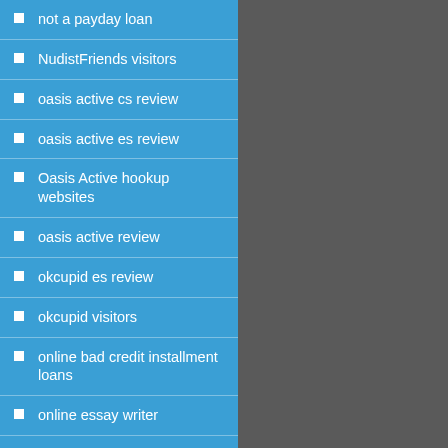not a payday loan
NudistFriends visitors
oasis active cs review
oasis active es review
Oasis Active hookup websites
oasis active review
okcupid es review
okcupid visitors
online bad credit installment loans
online essay writer
online installment loans direct lender
online payday loans michigan